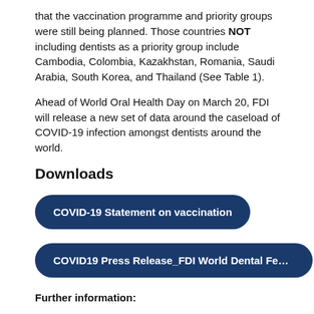that the vaccination programme and priority groups were still being planned. Those countries NOT including dentists as a priority group include Cambodia, Colombia, Kazakhstan, Romania, Saudi Arabia, South Korea, and Thailand (See Table 1).
Ahead of World Oral Health Day on March 20, FDI will release a new set of data around the caseload of COVID-19 infection amongst dentists around the world.
Downloads
COVID-19 Statement on vaccination
COVID19 Press Release_FDI World Dental Federati…
Further information: